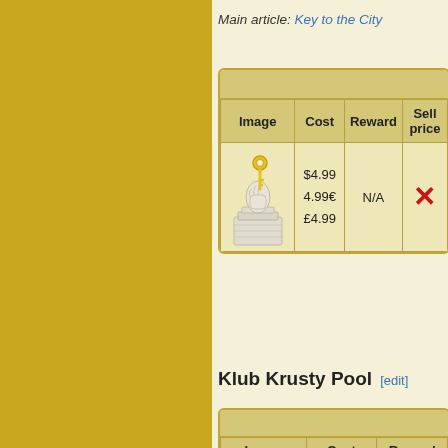Main article: Key to the City
| Image | Cost | Reward | Sell price |
| --- | --- | --- | --- |
| [statue image] | $4.99
4.99€
£4.99 | N/A | ✗ |
Klub Krusty Pool [edit]